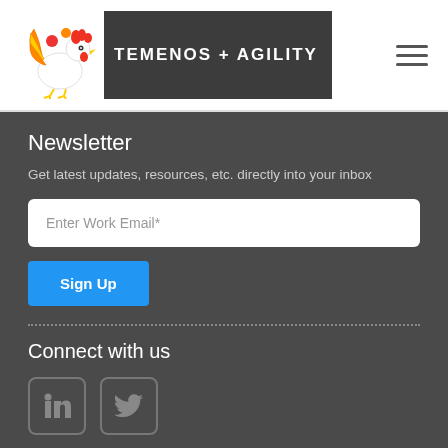[Figure (logo): Temenos + Agility logo with rooster illustration and text on dark background]
Newsletter
Get latest updates, resources, etc. directly into your inbox
Enter Work Email*
Sign Up
Connect with us
[Figure (illustration): LinkedIn and Twitter social media icons in rounded square borders]
Copyright ©2012–2022 Temenos+Agility. All Rights Reserved. Terms | Privacy Policy | Refund Policy